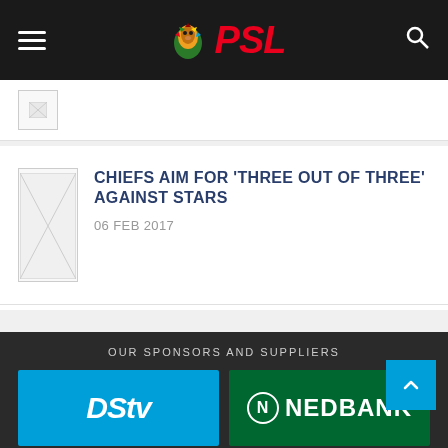PSL – Premier Soccer League
[Figure (screenshot): Broken image thumbnail placeholder at top card]
CHIEFS AIM FOR 'THREE OUT OF THREE' AGAINST STARS
06 FEB 2017
OUR SPONSORS AND SUPPLIERS
[Figure (logo): DStv logo – white text on cyan/blue background]
[Figure (logo): Nedbank logo – white text on dark green background]
[Figure (logo): MTN logo – yellow circle with white circle]
[Figure (logo): Carling Black Label logo – red and white text on black background]